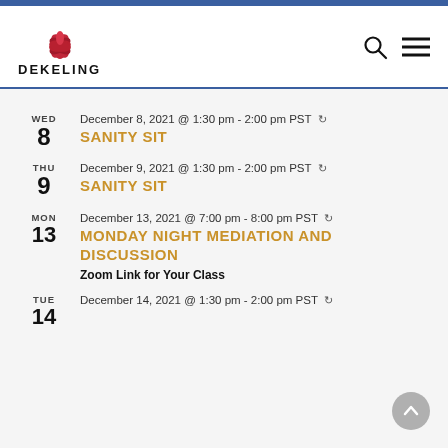DEKELING
WED 8 — December 8, 2021 @ 1:30 pm - 2:00 pm PST — SANITY SIT
THU 9 — December 9, 2021 @ 1:30 pm - 2:00 pm PST — SANITY SIT
MON 13 — December 13, 2021 @ 7:00 pm - 8:00 pm PST — MONDAY NIGHT MEDIATION AND DISCUSSION — Zoom Link for Your Class
TUE 14 — December 14, 2021 @ 1:30 pm - 2:00 pm PST